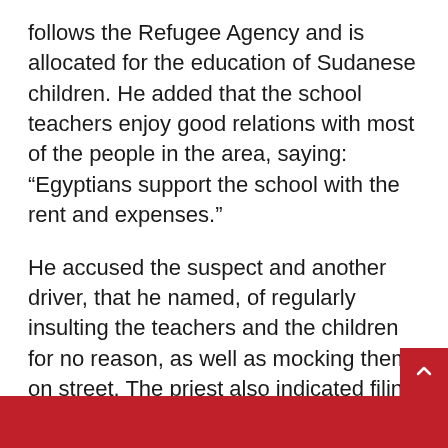follows the Refugee Agency and is allocated for the education of Sudanese children. He added that the school teachers enjoy good relations with most of the people in the area, saying: “Egyptians support the school with the rent and expenses.”
He accused the suspect and another driver, that he named, of regularly insulting the teachers and the children for no reason, as well as mocking them on street. The priest also indicated filing a report to security against the driver more than a year ago after he threatened to set the school on fire.
“The killer’s father called me after the accident and apologized for what his son did,” the priest